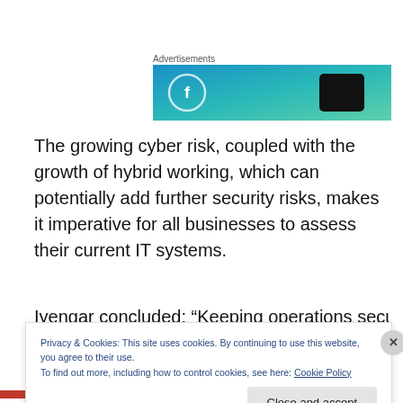Advertisements
[Figure (illustration): Advertisement banner with blue-teal gradient background, circular logo icon on left and dark smartphone silhouette on right]
The growing cyber risk, coupled with the growth of hybrid working, which can potentially add further security risks, makes it imperative for all businesses to assess their current IT systems.
Iyengar concluded: “Keeping operations secure, efficient
Privacy & Cookies: This site uses cookies. By continuing to use this website, you agree to their use.
To find out more, including how to control cookies, see here: Cookie Policy